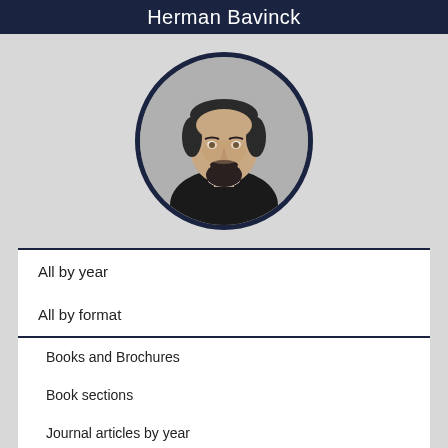Herman Bavinck
[Figure (photo): Black and white circular portrait photograph of Herman Bavinck, a bearded man in formal 19th century attire]
All by year
All by format
Books and Brochures
Book sections
Journal articles by year
Journal articles by journal